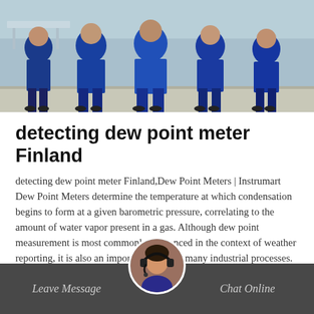[Figure (photo): Workers/people in blue work clothes standing on a factory or industrial floor, viewed from waist down.]
detecting dew point meter Finland
detecting dew point meter Finland,Dew Point Meters | Instrumart Dew Point Meters determine the temperature at which condensation begins to form at a given barometric pressure, correlating to the amount of water vapor present in a gas. Although dew point measurement is most commonly referenced in the context of weather reporting, it is also an important factor in many industrial processes.
Get Price
Leave Message   Chat Online